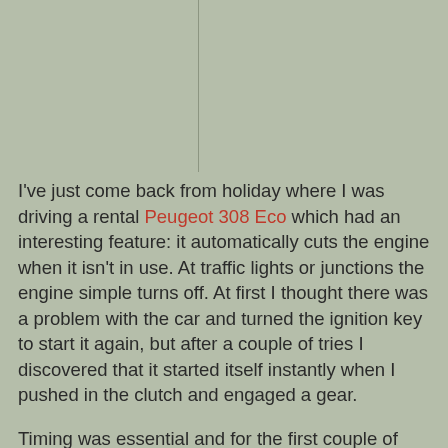I've just come back from holiday where I was driving a rental Peugeot 308 Eco which had an interesting feature: it automatically cuts the engine when it isn't in use. At traffic lights or junctions the engine simple turns off. At first I thought there was a problem with the car and turned the ignition key to start it again, but after a couple of tries I discovered that it started itself instantly when I pushed in the clutch and engaged a gear.
Timing was essential and for the first couple of days the car and I didn't quite synchronise, resulting in it beeping plaintively at me to push the clutch back in and let the engine start. Once this little dance had been worked out between us it was much smoother than I had expected.